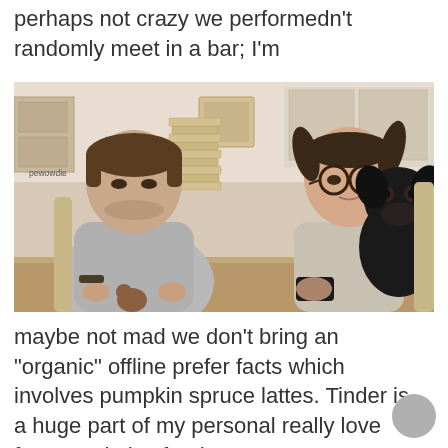perhaps not crazy we performedn't randomly meet in a bar; I'm
[Figure (photo): A man and a woman sitting at a table playing Jenga. The man is concentrating on the tower while the woman with glasses and pigtails looks on. A black dog is beside the woman. Watermark: pewowdie]
maybe not mad we don’t bring an “organic” offline prefer facts which involves pumpkin spruce lattes. Tinder is a huge part of my personal really love facts, and also for that I won’t apologize.”